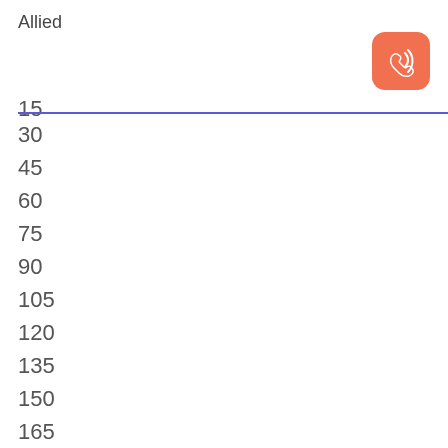Allied
[Figure (other): Orange/salmon rounded square icon with a phone/call symbol (handset with signal waves) in white]
15
30
45
60
75
90
105
120
135
150
165
180
195
210